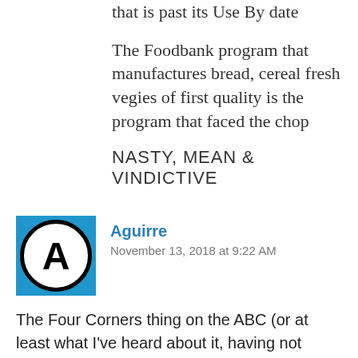that is past its Use By date
The Foodbank program that manufactures bread, cereal fresh vegies of first quality is the program that faced the chop
NASTY, MEAN & VINDICTIVE
Aguirre
November 13, 2018 at 9:22 AM
The Four Corners thing on the ABC (or at least what I've heard about it, having not watched it),underlines another thing I've been noticing for a while. We're being run by a combination of the underproductive politics of the 1980-